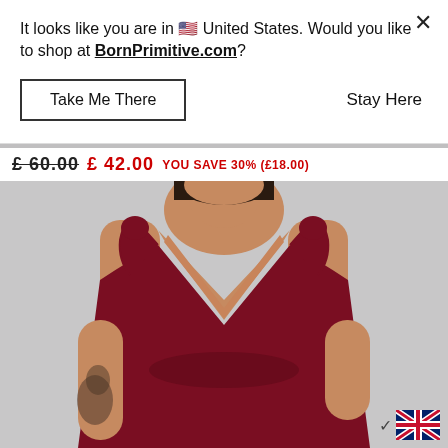[Figure (screenshot): E-commerce website screenshot showing a modal dialog over a product page. Background shows a model wearing a dark red/burgundy deep-V swimsuit on a grey background. A price bar shows £60.00 struck through, £42.00 in red, and 'YOU SAVE 30% (£18.00)' in red. The modal says 'It looks like you are in 🇺🇸 United States. Would you like to shop at BornPrimitive.com?' with a 'Take Me There' button and 'Stay Here' link. UK flag shown at bottom right.]